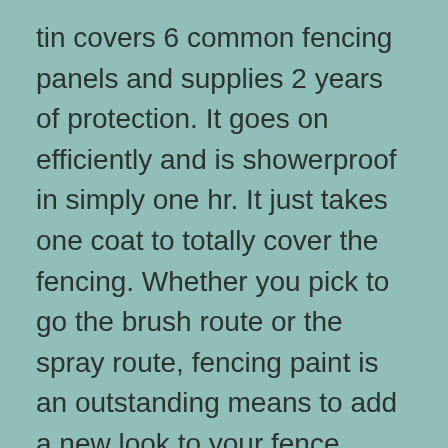tin covers 6 common fencing panels and supplies 2 years of protection. It goes on efficiently and is showerproof in simply one hr. It just takes one coat to totally cover the fencing. Whether you pick to go the brush route or the spray route, fencing paint is an outstanding means to add a new look to your fence.
While stain is more economical than paint, it can require even more constant securing. It might likewise call for 2 coats to attain the desired appearance. The disadvantage of discolor is that it will certainly not show wear as